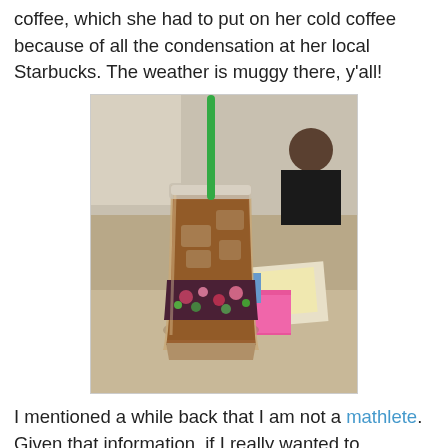coffee, which she had to put on her cold coffee because of all the condensation at her local Starbucks. The weather is muggy there, y'all!
[Figure (photo): Photo of an iced coffee drink in a clear plastic cup with a green straw, wrapped with a decorative floral fabric sleeve, sitting on a table at a Starbucks location. A person is visible in the background.]
I mentioned a while back that I am not a mathlete. Given that information, if I really wanted to "exercise" my math skills, where would I go?? Well, here of course. Ha! A gym for my brain.